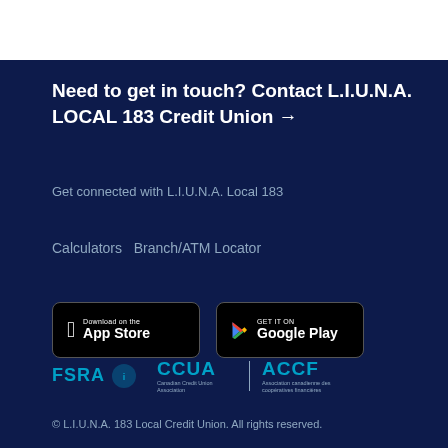Need to get in touch? Contact L.I.U.N.A. LOCAL 183 Credit Union →
Get connected with L.I.U.N.A. Local 183
Calculators   Branch/ATM Locator
[Figure (logo): Download on the App Store badge]
[Figure (logo): Get it on Google Play badge]
[Figure (logo): FSRA logo with icon]
[Figure (logo): CCUA - Canadian Credit Union Association logo]
[Figure (logo): ACCF - Association canadienne des coopératives financières logo]
© L.I.U.N.A. 183 Local Credit Union. All rights reserved.